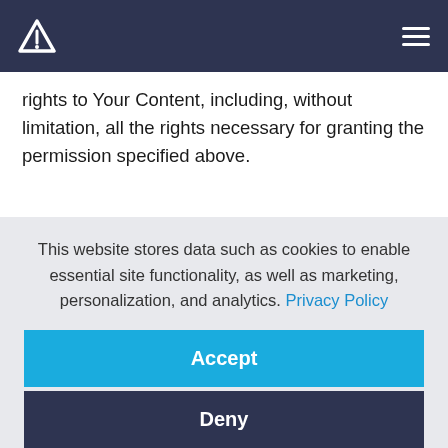Atypon logo and navigation
rights to Your Content, including, without limitation, all the rights necessary for granting the permission specified above.
3. Feedback
You may from time to time provide Atypon with suggestions, ideas or other feedback regarding the Services (“Feedback”). Both parties agree that Atypon shall
This website stores data such as cookies to enable essential site functionality, as well as marketing, personalization, and analytics. Privacy Policy
Accept
Deny